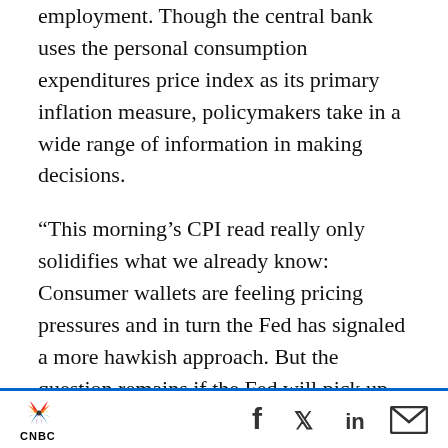employment. Though the central bank uses the personal consumption expenditures price index as its primary inflation measure, policymakers take in a wide range of information in making decisions.
“This morning’s CPI read really only solidifies what we already know: Consumer wallets are feeling pricing pressures and in turn the Fed has signaled a more hawkish approach. But the question remains if the Fed will pick up the pace given inflation is seemingly here to stay, at least in the medium-term,” said Mike Loewengart, managing director for investment strategy at E-
CNBC | Social share icons: Facebook, Twitter, LinkedIn, Email